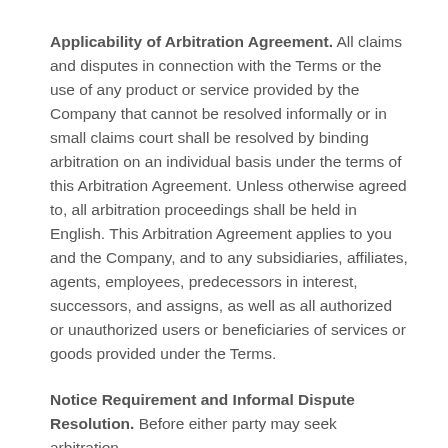Applicability of Arbitration Agreement. All claims and disputes in connection with the Terms or the use of any product or service provided by the Company that cannot be resolved informally or in small claims court shall be resolved by binding arbitration on an individual basis under the terms of this Arbitration Agreement. Unless otherwise agreed to, all arbitration proceedings shall be held in English. This Arbitration Agreement applies to you and the Company, and to any subsidiaries, affiliates, agents, employees, predecessors in interest, successors, and assigns, as well as all authorized or unauthorized users or beneficiaries of services or goods provided under the Terms.
Notice Requirement and Informal Dispute Resolution. Before either party may seek arbitration,